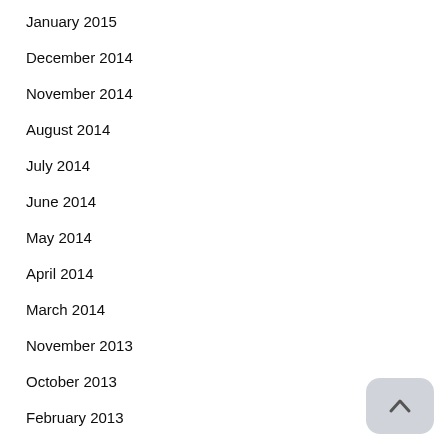January 2015
December 2014
November 2014
August 2014
July 2014
June 2014
May 2014
April 2014
March 2014
November 2013
October 2013
February 2013
January 2013
December 2012